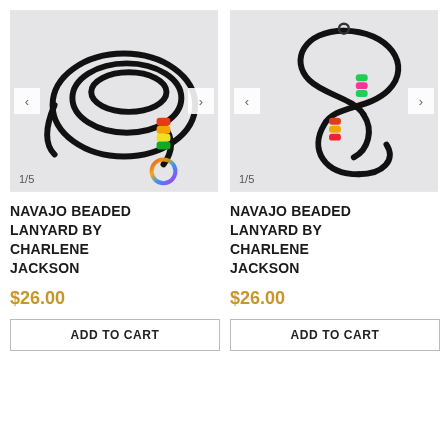[Figure (photo): Photo of a black braided lanyard with colorful beads (red, orange, yellow) and a rainbow-colored ring clasp, coiled on a light gray background. Shows '1/5' counter.]
NAVAJO BEADED LANYARD BY CHARLENE JACKSON
$26.00
ADD TO CART
[Figure (photo): Photo of a black braided lanyard with colorful beads (green, red, pink) arranged in a looping S-shape on a light gray background. Shows '1/5' counter.]
NAVAJO BEADED LANYARD BY CHARLENE JACKSON
$26.00
ADD TO CART